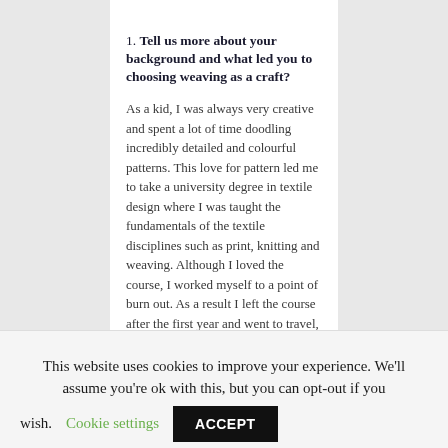1. Tell us more about your background and what led you to choosing weaving as a craft?
As a kid, I was always very creative and spent a lot of time doodling incredibly detailed and colourful patterns. This love for pattern led me to take a university degree in textile design where I was taught the fundamentals of the textile disciplines such as print, knitting and weaving. Although I loved the course, I worked myself to a point of burn out. As a result I left the course after the first year and went to travel, and eventually made the decision not to continue my studies. Life took lots of crazy turns and 10 years later I found myself with a degree in environmental science
This website uses cookies to improve your experience. We'll assume you're ok with this, but you can opt-out if you wish. Cookie settings ACCEPT